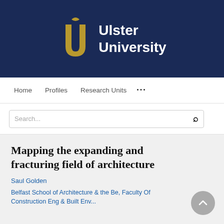[Figure (logo): Ulster University logo on dark navy background — gold stylized U letterform with a small bird/V shape at top, followed by white bold text 'Ulster University']
Home  Profiles  Research Units  ...
Search...
Mapping the expanding and fracturing field of architecture
Saul Golden
Belfast School of Architecture & the Be, Faculty Of Construction Eng & Built Env...